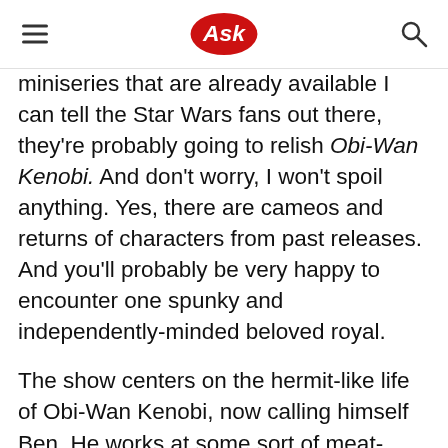Ask
miniseries that are already available I can tell the Star Wars fans out there, they're probably going to relish Obi-Wan Kenobi. And don't worry, I won't spoil anything. Yes, there are cameos and returns of characters from past releases. And you'll probably be very happy to encounter one spunky and independently-minded beloved royal.
The show centers on the hermit-like life of Obi-Wan Kenobi, now calling himself Ben. He works at some sort of meat-processing factory. Then goes home — to a cave — cooks himself dinner, eats alone sitting on a rock and watches Luke from the distance. Uncle Owen is not happy with Ben being so close to them